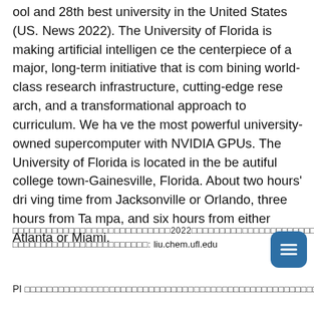ool and 28th best university in the United States (US. News 2022). The University of Florida is making artificial intelligence the centerpiece of a major, long-term initiative that is combining world-class research infrastructure, cutting-edge research, and a transformational approach to curriculum. We have the most powerful university-owned supercomputer with NVIDIA GPUs. The University of Florida is located in the beautiful college town-Gainesville, Florida. About two hours' driving time from Jacksonville or Orlando, three hours from Tampa, and six hours from either Atlanta or Miami.
□□□□□□□□□□□□□□□□□□□□□□□□□□□□2022□□□□□□□□□□□□□□□□□□□□□□□□□□□□□□□□□□□□□□□□□□□□□□□□□□□□□□□□□□□□□□: liu.chem.ufl.edu
PI □□□□□□□□□□□□□□□□□□□□□□□□□□□□□□□□□□□□□□□□□□□□□□□□□□□□□□□□□□□□□□□□□□□□□□□□□□□□□□□□□□□□□□□□□□□□□□□□□□□□